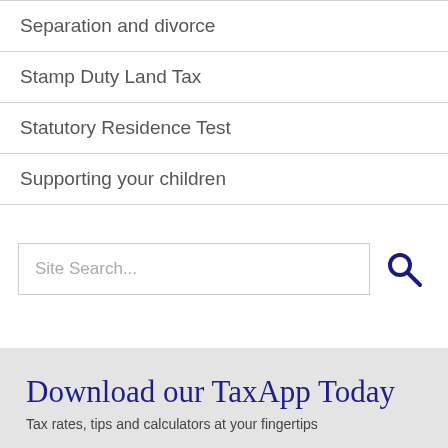Separation and divorce
Stamp Duty Land Tax
Statutory Residence Test
Supporting your children
Site Search...
Download our TaxApp Today
Tax rates, tips and calculators at your fingertips